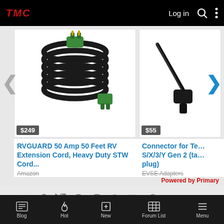TMC — Log in
[Figure (photo): RVGUARD 50 Amp 50 Feet RV Extension Cord, Heavy Duty STW Cord - coiled black cable with green connectors, price $249]
[Figure (photo): Connector for Tesla S/X/3/Y Gen 2 (tap plug) - black cable connector, price $55]
RVGUARD 50 Amp 50 Feet RV Extension Cord, Heavy Duty STW Cord...
Amazon
Connector for Tesla S/X/3/Y Gen 2 (tap plug)
EVSE Adapters
Powered by Primary
Share:
Model Y: Battery & Charging
Blog  Hot  New  Forum List  Menu